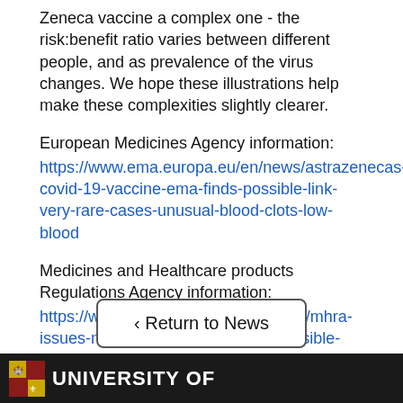Zeneca vaccine a complex one - the risk:benefit ratio varies between different people, and as prevalence of the virus changes. We hope these illustrations help make these complexities slightly clearer.
European Medicines Agency information: https://www.ema.europa.eu/en/news/astrazenecas-covid-19-vaccine-ema-finds-possible-link-very-rare-cases-unusual-blood-clots-low-blood
Medicines and Healthcare products Regulations Agency information: https://www.gov.uk/government/news/mhra-issues-new-advice-concluding-a-possible-link-between-covid-19-vaccine-astrazeneca-and-extremely-rare-unlikely-to-occur-blood-clots
‹ Return to News
UNIVERSITY OF